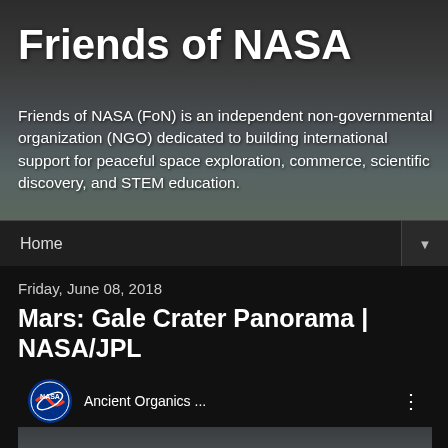Friends of NASA
Friends of NASA (FoN) is an independent non-governmental organization (NGO) dedicated to building international support for peaceful space exploration, commerce, scientific discovery, and STEM education.
Home ▼
Friday, June 08, 2018
Mars: Gale Crater Panorama | NASA/JPL
[Figure (screenshot): YouTube video embed showing NASA video titled 'Ancient Organics ...' with NASA logo and Mars landscape panorama with play button]